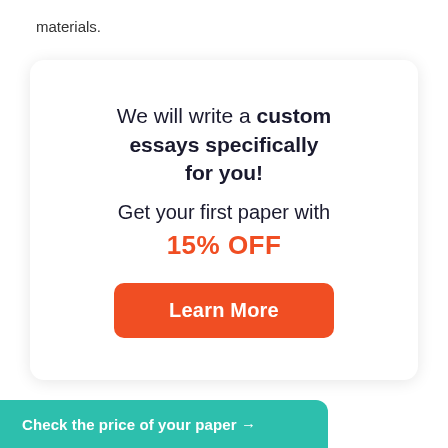materials.
[Figure (infographic): Promotional card with white background and rounded corners. Contains text: 'We will write a custom essays specifically for you! Get your first paper with 15% OFF' and an orange 'Learn More' button.]
Check the price of your paper →